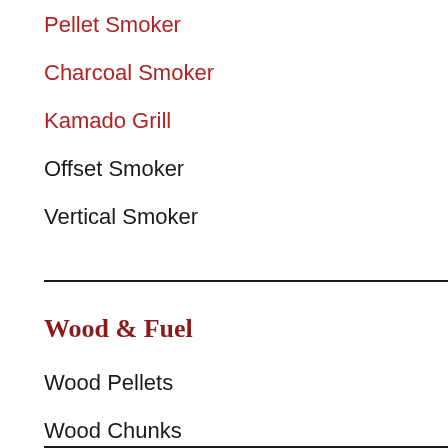Pellet Smoker
Charcoal Smoker
Kamado Grill
Offset Smoker
Vertical Smoker
Wood & Fuel
Wood Pellets
Wood Chunks